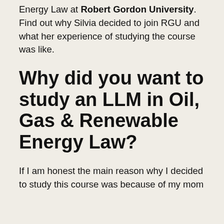Energy Law at Robert Gordon University. Find out why Silvia decided to join RGU and what her experience of studying the course was like.
Why did you want to study an LLM in Oil, Gas & Renewable Energy Law?
If I am honest the main reason why I decided to study this course was because of my mom